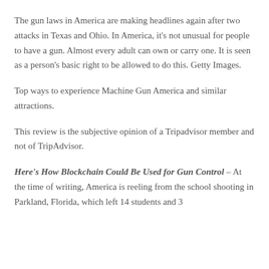The gun laws in America are making headlines again after two attacks in Texas and Ohio. In America, it's not unusual for people to have a gun. Almost every adult can own or carry one. It is seen as a person's basic right to be allowed to do this. Getty Images.
Top ways to experience Machine Gun America and similar attractions.
This review is the subjective opinion of a Tripadvisor member and not of TripAdvisor.
Here's How Blockchain Could Be Used for Gun Control – At the time of writing, America is reeling from the school shooting in Parkland, Florida, which left 14 students and 3...